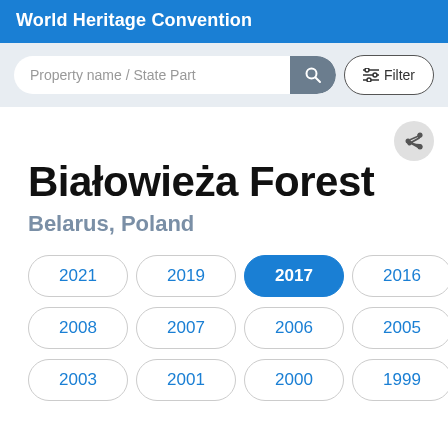World Heritage Convention
Białowieża Forest
Belarus, Poland
2021
2019
2017
2016
2009
2008
2007
2006
2005
2004
2003
2001
2000
1999
1998